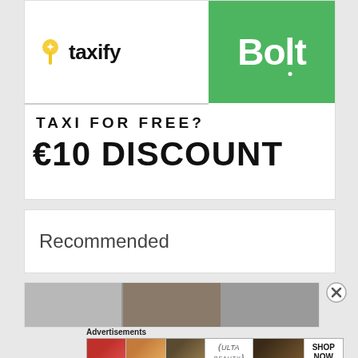[Figure (screenshot): Taxify and Bolt logos side by side — Taxify with yellow pin icon on left, Bolt in white bold text on green background on right. A horizontal divider line separates the logos from the ad text below.]
TAXI FOR FREE?
€10 DISCOUNT
Recommended
[Figure (screenshot): Two blurred thumbnail images side by side — a blurred gray image on the left and a blurred shop/beauty interior on the right.]
Advertisements
[Figure (screenshot): Ulta Beauty advertisement banner strip showing beauty product thumbnails: red lips with makeup brush, brown eye makeup, gold eye shadow, ULTA beauty logo, close-up eye, and SHOP NOW text on white background.]